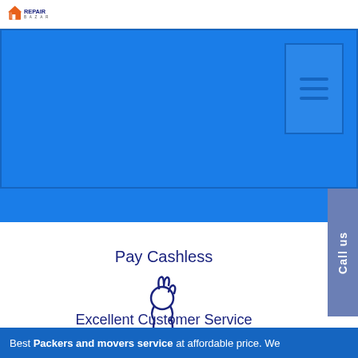Repair Bazar logo
[Figure (screenshot): Blue hero banner with hamburger menu icon on the right side]
[Figure (illustration): OK hand gesture icon in blue outline style]
Pay Cashless
Excellent Customer Service
Best Packers and movers service at affordable price. We